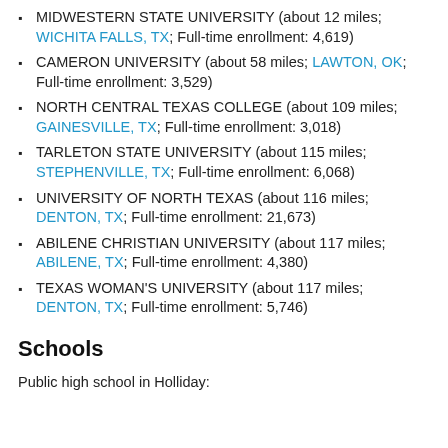MIDWESTERN STATE UNIVERSITY (about 12 miles; WICHITA FALLS, TX; Full-time enrollment: 4,619)
CAMERON UNIVERSITY (about 58 miles; LAWTON, OK; Full-time enrollment: 3,529)
NORTH CENTRAL TEXAS COLLEGE (about 109 miles; GAINESVILLE, TX; Full-time enrollment: 3,018)
TARLETON STATE UNIVERSITY (about 115 miles; STEPHENVILLE, TX; Full-time enrollment: 6,068)
UNIVERSITY OF NORTH TEXAS (about 116 miles; DENTON, TX; Full-time enrollment: 21,673)
ABILENE CHRISTIAN UNIVERSITY (about 117 miles; ABILENE, TX; Full-time enrollment: 4,380)
TEXAS WOMAN'S UNIVERSITY (about 117 miles; DENTON, TX; Full-time enrollment: 5,746)
Schools
Public high school in Holliday: